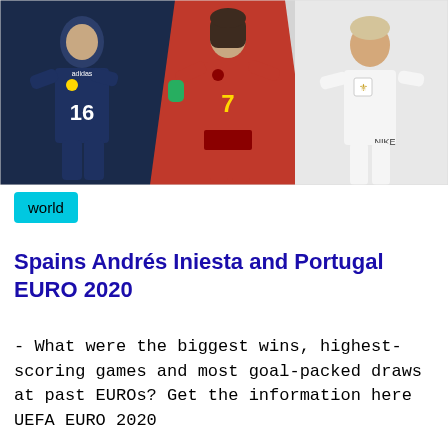[Figure (photo): Three football players in international kits: left player in dark Scotland kit with number 16, center player in red Wales kit with number 7, right player in white England kit with three lions crest.]
world
Spains Andrés Iniesta and Portugal EURO 2020
- What were the biggest wins, highest-scoring games and most goal-packed draws at past EUROs? Get the information here UEFA EURO 2020